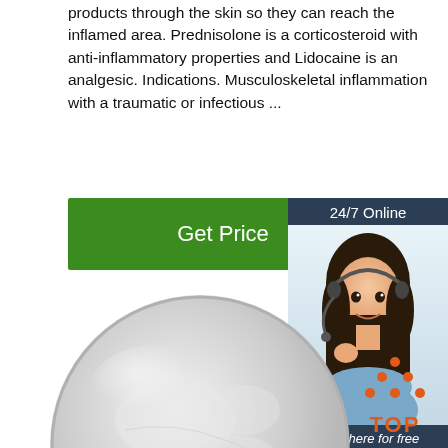products through the skin so they can reach the inflamed area. Prednisolone is a corticosteroid with anti-inflammatory properties and Lidocaine is an analgesic. Indications. Musculoskeletal inflammation with a traumatic or infectious ...
[Figure (other): Green 'Get Price' button]
[Figure (other): 24/7 Online chat sidebar with woman wearing headset, 'Click here for free chat!' text, and orange QUOTATION button]
[Figure (photo): Round plate/dish containing white powder (pharmaceutical powder), viewed from above]
[Figure (other): TOP badge with orange dots forming a triangle above orange bold text 'TOP']